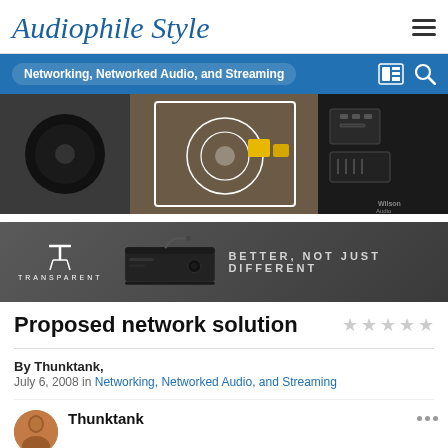Audiophile Style
Networking, Networked Audio, and Streaming
[Figure (photo): Banner collage of audiophile speakers and audio equipment, including a black subwoofer, a KEF speaker in the center, circuit boards, and Wilson Audio branding]
[Figure (photo): Transparent audio advertisement banner: black audio device with text BETTER, NOT JUST DIFFERENT]
Proposed network solution
By Thunktank,
July 6, 2008 in Networking, Networked Audio, and Streaming
Thunktank